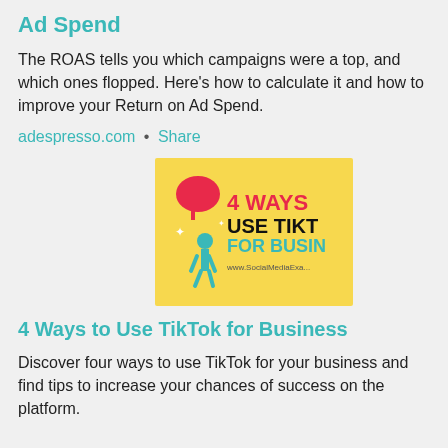Ad Spend
The ROAS tells you which campaigns were a top, and which ones flopped. Here’s how to calculate it and how to improve your Return on Ad Spend.
adespresso.com • Share
[Figure (illustration): Yellow background promotional image showing '4 WAYS USE TIKT FOR BUSIN' text with a figure illustration, from www.SocialMediaExam...]
4 Ways to Use TikTok for Business
Discover four ways to use TikTok for your business and find tips to increase your chances of success on the platform.